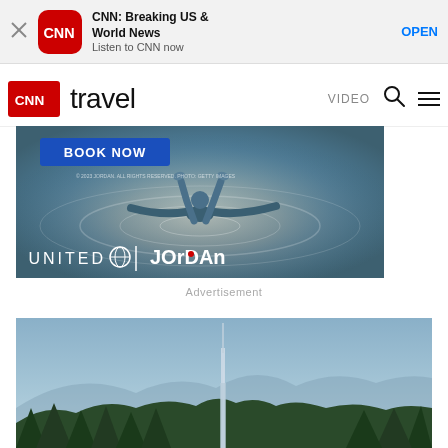[Figure (screenshot): App store banner for CNN: Breaking US & World News app with close button, CNN logo icon, app name, tagline and OPEN button]
[Figure (screenshot): CNN Travel navigation bar with CNN logo, travel text, VIDEO link, search icon and menu icon]
[Figure (photo): Advertisement image showing a person floating in water with BOOK NOW button, United Airlines and Jordan logos]
Advertisement
[Figure (photo): Partial bottom image showing a landscape with trees and a tall structure against a blue sky]